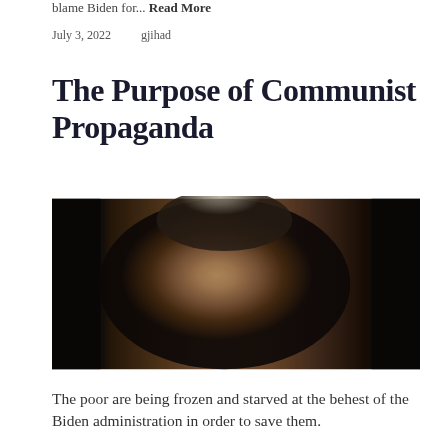blame Biden for... Read More
July 3, 2022    gjihad
The Purpose of Communist Propaganda
[Figure (photo): A man with grey-streaked short hair and a goatee, wearing a dark brown jacket, photographed in dramatic low-key lighting with dark background panels on either side]
The poor are being frozen and starved at the behest of the Biden administration in order to save them.